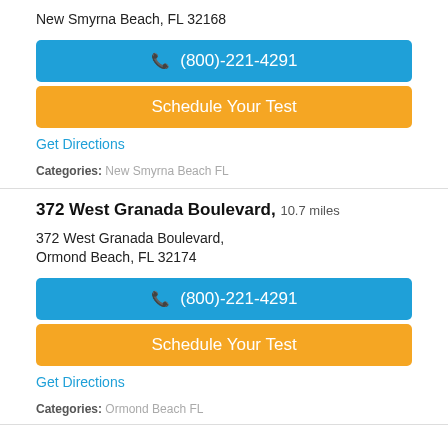New Smyrna Beach, FL 32168
(800)-221-4291
Schedule Your Test
Get Directions
Categories: New Smyrna Beach FL
372 West Granada Boulevard, 10.7 miles
372 West Granada Boulevard,
Ormond Beach, FL 32174
(800)-221-4291
Schedule Your Test
Get Directions
Categories: Ormond Beach FL